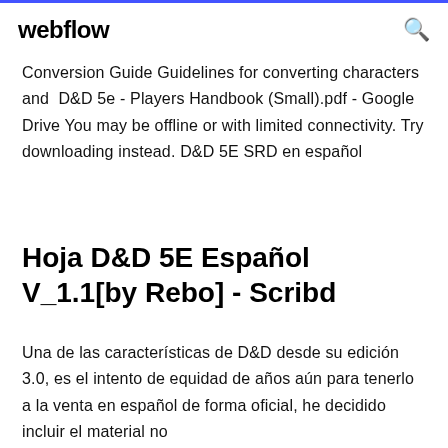webflow
Conversion Guide Guidelines for converting characters and  D&D 5e - Players Handbook (Small).pdf - Google Drive You may be offline or with limited connectivity. Try downloading instead. D&D 5E SRD en español
Hoja D&D 5E Español V_1.1[by Rebo] - Scribd
Una de las características de D&D desde su edición 3.0, es el intento de equidad de años aún para tenerlo a la venta en español de forma oficial, he decidido incluir el material no http://www.mediafire.com/file/zrcz83sx025ip2q/El-